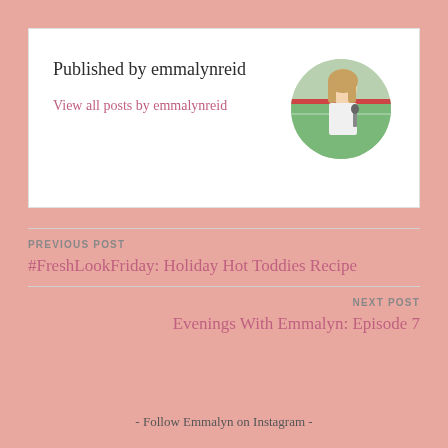Published by emmalynreid
View all posts by emmalynreid
[Figure (photo): Circular avatar photo of emmalynreid, a woman with long hair standing on a sports field holding a microphone]
PREVIOUS POST
#FreshLookFriday: Holiday Hot Toddies Recipe
NEXT POST
Evenings With Emmalyn: Episode 7
- Follow Emmalyn on Instagram -